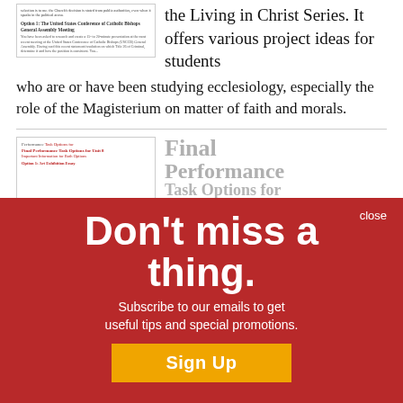[Figure (screenshot): Thumbnail of a document showing 'Option 1: The United States Conference of Catholic Bishops General Assembly Meeting' with small body text below.]
the Living in Christ Series. It offers various project ideas for students who are or have been studying ecclesiology, especially the role of the Magisterium on matter of faith and morals.
[Figure (screenshot): Thumbnail of a document page showing 'Final Performance Task Options for Unit 8' with red headings and option details.]
Final Performance Task Options for
This resource is part of the Living in Christ Series. It offers various project ideas for students who are or have been studying the Paschal Mystery, especially...
[Figure (infographic): Red overlay popup with white bold text 'Don't miss a thing.' and subtitle 'Subscribe to our emails to get useful tips and special promotions.' with a yellow 'Sign Up' button and 'close' link.]
Final Performance Task Options for Unit 3
Final Performance